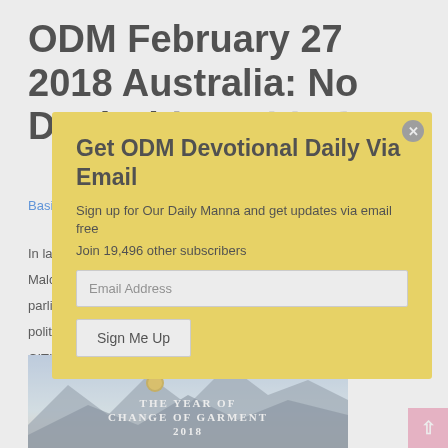ODM February 27 2018 Australia: No Dual Citizenship for...
Basic...
In lat... Malc... parlia... politi... CITIIZ... stem... main...
[Figure (illustration): Book cover image with text 'THE YEAR OF CHANGE OF GARMENT 2018' over a scenic mountain/sky background]
[Figure (other): Modal popup with yellow background: 'Get ODM Devotional Daily Via Email' - email subscription form with 'Sign Me Up' button, 'Join 19,496 other subscribers']